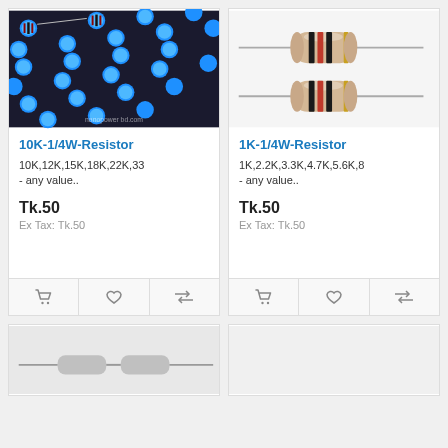[Figure (photo): Blue metal film resistors arranged in rows on a dark background, with nanopowerbd.com watermark]
10K-1/4W-Resistor
10K,12K,15K,18K,22K,33 - any value..
Tk.50
Ex Tax: Tk.50
[Figure (photo): Two carbon film resistors with beige body and colored bands (black, red) on lead wires against white background]
1K-1/4W-Resistor
1K,2.2K,3.3K,4.7K,5.6K,8 - any value..
Tk.50
Ex Tax: Tk.50
[Figure (photo): Partial product card showing resistors at bottom of page, cropped]
[Figure (photo): Partial product card, cropped at bottom of page]